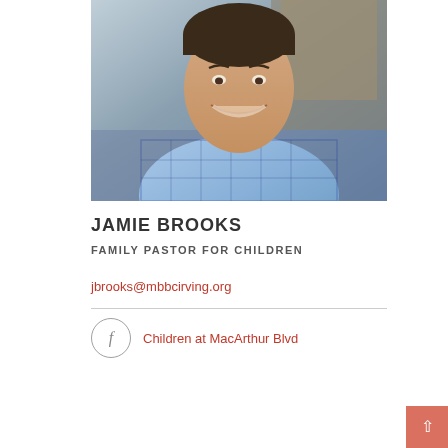[Figure (photo): Headshot photo of Jamie Brooks, a man in a blue plaid shirt, smiling, photographed indoors]
JAMIE BROOKS
FAMILY PASTOR FOR CHILDREN
jbrooks@mbbcirving.org
Children at MacArthur Blvd